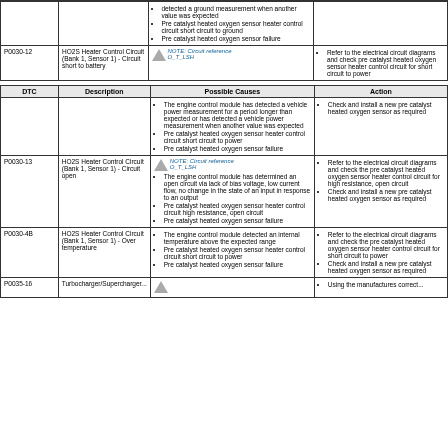| DTC | Description | Possible Causes | Action |
| --- | --- | --- | --- |
|  |  | detected a ground measurement when another value was expected
Pre catalyst heated oxygen sensor heater control circuit short circuit to ground
Pre catalyst heated oxygen sensor failure |  |
| P0030-12 | HO2S Heater Control Circuit (Bank 1, Sensor 1) - Circuit short to battery | NOTE: Circuit reference O_T_LSH | Refer to the electrical circuit diagrams and check pre catalyst heated oxygen sensor heater control circuit for short circuit to power |
| DTC | Description | Possible Causes | Action |
| --- | --- | --- | --- |
|  |  | The engine control module has detected a vehicle power measurement for a period longer than expected or has detected a vehicle power measurement when another value was expected
Pre catalyst heated oxygen sensor heater control circuit short circuit to power
Pre catalyst heated oxygen sensor failure | Check and install a new pre catalyst heated oxygen sensor as required |
| P0030-13 | HO2S Heater Control Circuit (Bank 1, Sensor 1) - Circuit open | NOTE: Circuit reference O_T_LSH
The engine control module has determined an open circuit via lack of bias voltage, low current flow, no change in the state of an input in response to an output
Pre catalyst heated oxygen sensor heater control circuit high resistance, open circuit
Pre catalyst heated oxygen sensor failure | Refer to the electrical circuit diagrams and check the pre catalyst heated oxygen sensor heater control circuit for high resistance, open circuit
Check and install a new pre catalyst heated oxygen sensor as required |
| P0030-4B | HO2S Heater Control Circuit (Bank 1, Sensor 1) - Over temperature | The engine control module detected an internal temperature above the expected range
Pre catalyst heated oxygen sensor heater control circuit short circuit to power
Pre catalyst heated oxygen sensor failure | Refer to the electrical circuit diagrams and check the pre catalyst heated oxygen sensor heater control circuit for short circuit to power
Check and install a new pre catalyst heated oxygen sensor as required |
| P0035-16 | Turbocharger/Supercharger... |  | Using the manufactures correct... |